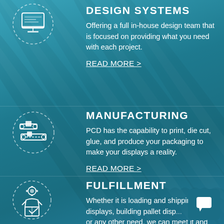[Figure (illustration): Icon of a computer/design system inside a dashed circle, white on teal background]
Offering a full in-house design team that is focused on providing what you need with each project.
READ MORE >
[Figure (illustration): Icon of manufacturing/conveyor equipment inside a dashed circle, white on teal background]
MANUFACTURING
PCD has the capability to print, die cut, glue, and produce your packaging to make your displays a reality.
READ MORE >
[Figure (illustration): Icon of a person with gear/box (fulfillment) inside a dashed circle, white on teal background]
FULFILLMENT
Whether it is loading and shipping filled displays, building pallet disp... or any other need, we can meet it and
[Figure (illustration): Chat bubble icon in a teal square, bottom right corner]